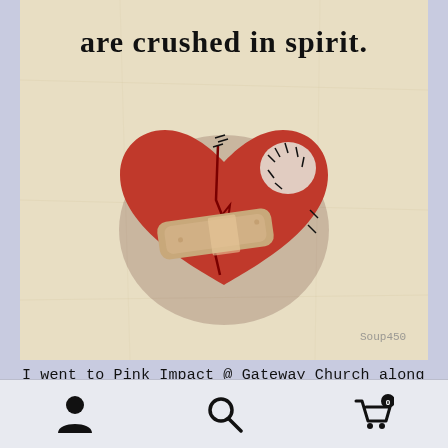[Figure (illustration): A beaten, stitched red heart with a bandage on it, on a worn parchment background with text 'are crushed in spirit.' at the top in handwritten black font. Watermark 'Soup450' in bottom right corner.]
I went to Pink Impact @ Gateway Church along with
[Figure (other): Mobile app navigation bar with person/profile icon, search magnifying glass icon, and shopping cart icon with '0' badge]